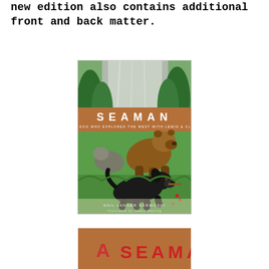new edition also contains additional front and back matter.
[Figure (illustration): Book cover of 'SEAMAN: The Dog Who Explored the West with Lewis & Clark' by Gail Langer Karwoski, illustrated by James Watling. Shows a black dog, a bear, and another animal in a green wilderness setting.]
[Figure (illustration): Partial view of another edition of the SEAMAN book cover showing the title text on a brown/orange background.]